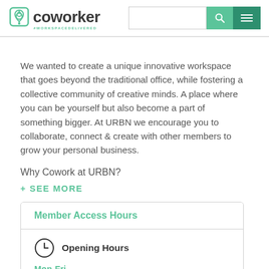coworker — #WORKSPACEDELIVERED
We wanted to create a unique innovative workspace that goes beyond the traditional office, while fostering a collective community of creative minds. A place where you can be yourself but also become a part of something bigger. At URBN we encourage you to collaborate, connect & create with other members to grow your personal business.
Why Cowork at URBN?
+ SEE MORE
| Member Access Hours |
| --- |
| Opening Hours | Mon-Fri |